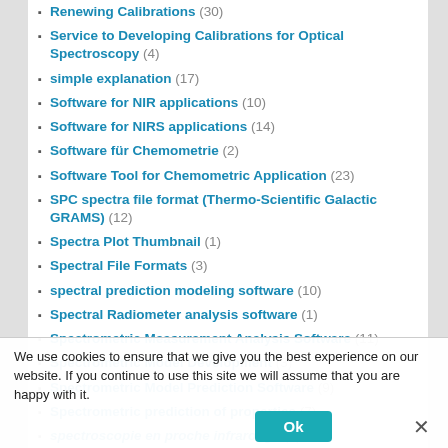Renewing Calibrations (30)
Service to Developing Calibrations for Optical Spectroscopy (4)
simple explanation (17)
Software for NIR applications (10)
Software for NIRS applications (14)
Software für Chemometrie (2)
Software Tool for Chemometric Application (23)
SPC spectra file format (Thermo-Scientific Galactic GRAMS) (12)
Spectra Plot Thumbnail (1)
Spectral File Formats (3)
spectral prediction modeling software (10)
Spectral Radiometer analysis software (1)
Spectrometric Measurement Analysis Software (11)
Spectrometric Model Development (3)
Spectrometric Model Prediction Software (9)
Spectrometric prediction of properties (7)
spectroscopie en proche infrarouge (3)
Spectroscopy (76)
Near Infra Red (NIR) (67)
NIR method development (44)
NIR method maintenance (44)
Near-IR Spectroscopy (NIRS) (31)
Spectroscopy and Chemometrics (1)
We use cookies to ensure that we give you the best experience on our website. If you continue to use this site we will assume that you are happy with it.